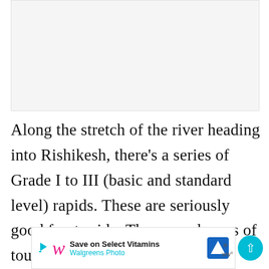[Figure (photo): Placeholder image area, light gray background]
Along the stretch of the river heading into Rishikesh, there's a series of Grade I to III (basic and standard level) rapids. These are seriously good fun to ride. There are dozens of tour companies in town offering ra...
[Figure (other): Walgreens advertisement banner: Save on Select Vitamins - Walgreens Photo]